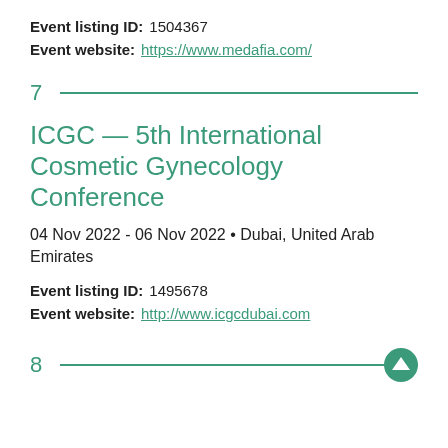Event listing ID: 1504367
Event website: https://www.medafia.com/
7
ICGC — 5th International Cosmetic Gynecology Conference
04 Nov 2022 - 06 Nov 2022 • Dubai, United Arab Emirates
Event listing ID: 1495678
Event website: http://www.icgcdubai.com
8